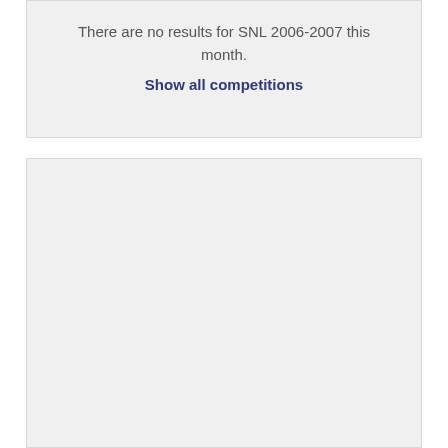There are no results for SNL 2006-2007 this month.
Show all competitions
[Figure (other): Empty light gray box, no content]